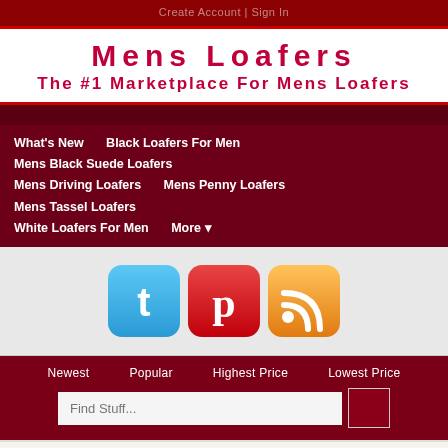Create Account | Sign In
Mens Loafers
The #1 Marketplace For Mens Loafers
What's New   Black Loafers For Men   Mens Black Suede Loafers   Mens Driving Loafers   Mens Penny Loafers   Mens Tassel Loafers   White Loafers For Men   More
[Figure (logo): Social media icons: Twitter (blue), Pinterest (red), RSS feed (orange)]
Newest   Popular   Highest Price   Lowest Price
Find Stuff...
Minnetonka Men's Moosehide Classic Moccasin,Chocolate Moose,12 M US